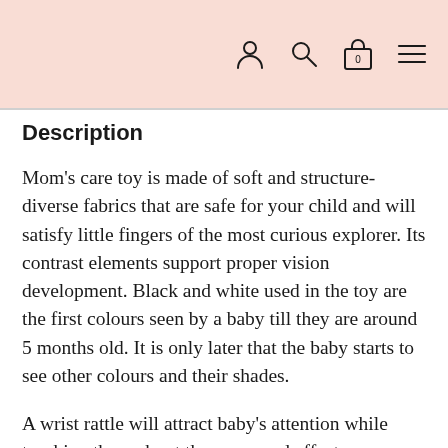[navigation icons: user, search, bag(0), menu]
Description
Mom's care toy is made of soft and structure-diverse fabrics that are safe for your child and will satisfy little fingers of the most curious explorer. Its contrast elements support proper vision development. Black and white used in the toy are the first colours seen by a baby till they are around 5 months old. It is only later that the baby starts to see other colours and their shades.
A wrist rattle will attract baby's attention while teaching them about the cause and effect relationship. The gentle sound of the rattle which can be heard even with a slight hand movement